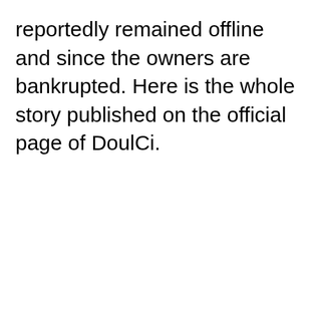reportedly remained offline and since the owners are bankrupted. Here is the whole story published on the official page of DoulCi.